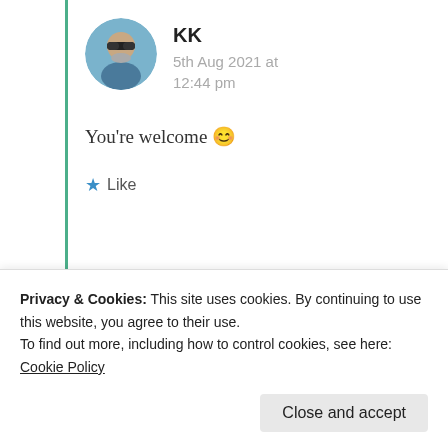KK
5th Aug 2021 at 12:44 pm
You're welcome 😊
★ Like
Advertisements
[Figure (illustration): Fandom on Tumblr advertisement banner with colorful gradient background and bold text]
Privacy & Cookies: This site uses cookies. By continuing to use this website, you agree to their use.
To find out more, including how to control cookies, see here: Cookie Policy
Close and accept
5th Aug 2021 at 1:57 pm